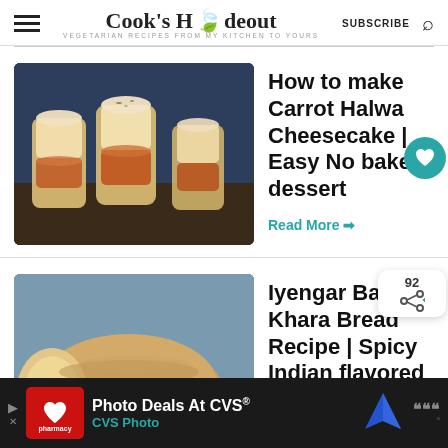Cook's Hideout – VEGETARIAN RECIPES FROM MY KITCHEN TO YOURS | SUBSCRIBE | Search
How to make Carrot Halwa Cheesecake | Easy No bake dessert
Read More →
Iyengar Bakery Khara Bread Recipe | Spicy Indian flavored
Read More →
[Figure (screenshot): WHAT'S NEXT → How to make Eggless... with thumbnail]
[Figure (photo): Ad banner: Photo Deals At CVS® / CVS Photo with CVS pharmacy logo and map icon]